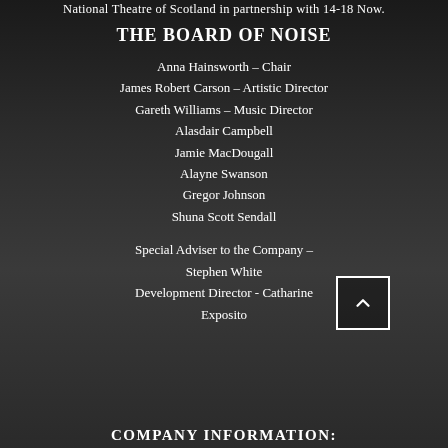National Theatre of Scotland in partnership with 14-18 Now.
THE BOARD OF NOISE
Anna Hainsworth – Chair
James Robert Carson – Artistic Director
Gareth Williams – Music Director
Alasdair Campbell
Jamie MacDougall
Alayne Swanson
Gregor Johnson
Shuna Scott Sendall
Special Adviser to the Company – Stephen White
Development Director - Catharine Exposito
COMPANY INFORMATION: